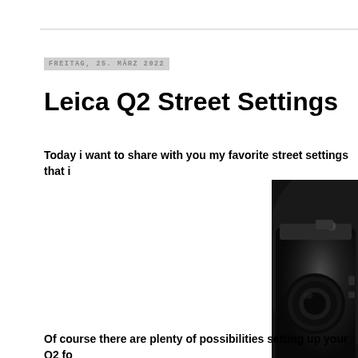Freitag, 25. März 2022
Leica Q2 Street Settings
Today i want to share with you my favorite street settings that i
[Figure (photo): Leica Q2 camera on dark background, showing the top and front of the black camera body]
Of course there are plenty of possibilities setting up your Q2 fo